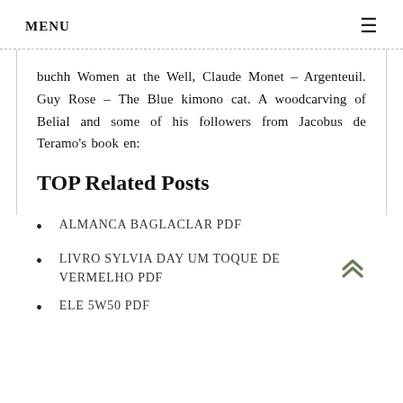MENU
buchh Women at the Well, Claude Monet – Argenteuil. Guy Rose – The Blue kimono cat. A woodcarving of Belial and some of his followers from Jacobus de Teramo's book en:
TOP Related Posts
ALMANCA BAGLACLAR PDF
LIVRO SYLVIA DAY UM TOQUE DE VERMELHO PDF
ELE 5W50 PDF